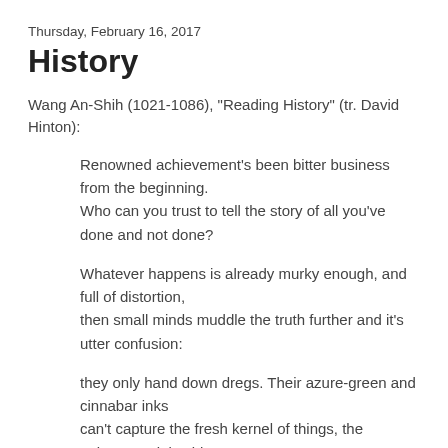Thursday, February 16, 2017
History
Wang An-Shih (1021-1086), "Reading History" (tr. David Hinton):
Renowned achievement's been bitter business from the beginning.
Who can you trust to tell the story of all you've done and not done?
Whatever happens is already murky enough, and full of distortion,
then small minds muddle the truth further and it's utter confusion:
they only hand down dregs. Their azure-green and cinnabar inks
can't capture the fresh kernel of things, the quintessential spirit,